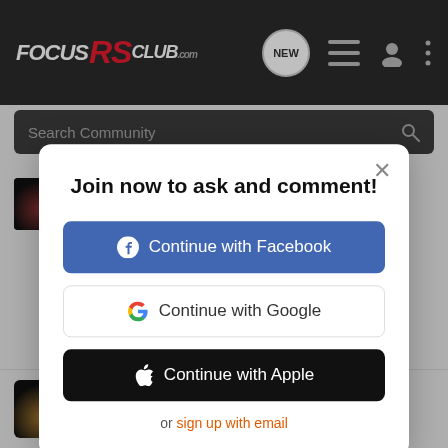FocusRSClub.com
Search Community
oddriver · New member
Joined Jan 18, 2016 · 64 Posts
Join now to ask and comment!
Continue with Facebook
Continue with Google
Continue with Apple
or sign up with email
oddriver · New member
Joined Jan 18, 2016 · 64 Posts